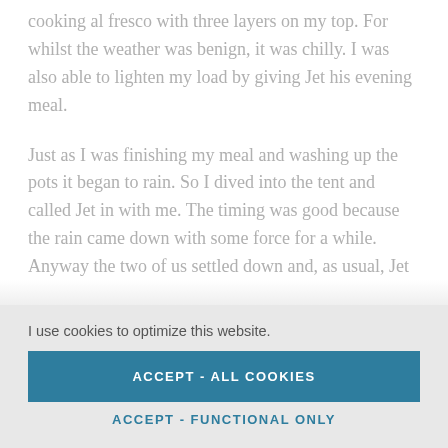cooking al fresco with three layers on my top. For whilst the weather was benign, it was chilly. I was also able to lighten my load by giving Jet his evening meal.
Just as I was finishing my meal and washing up the pots it began to rain. So I dived into the tent and called Jet in with me. The timing was good because the rain came down with some force for a while. Anyway the two of us settled down and, as usual, Jet
I use cookies to optimize this website.
ACCEPT - ALL COOKIES
ACCEPT - FUNCTIONAL ONLY